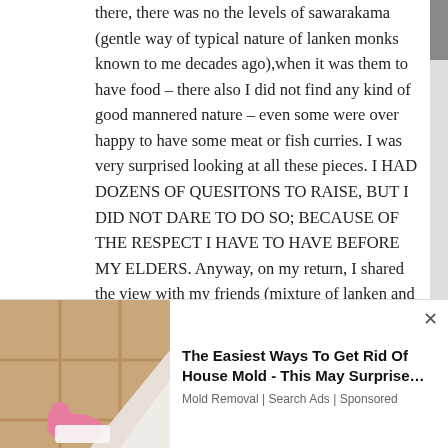there, there was no the levels of sawarakama (gentle way of typical nature of lanken monks known to me decades ago),when it was them to have food – there also I did not find any kind of good mannered nature – even some were over happy to have some meat or fish curries. I was very surprised looking at all these pieces. I HAD DOZENS OF QUESITONS TO RAISE, BUT I DID NOT DARE TO DO SO; BECAUSE OF THE RESPECT I HAVE TO HAVE BEFORE MY ELDERS. Anyway, on my return, I shared the view with my friends (mixture of lanken and foreigners), that the nature of those monks…
[Figure (photo): Advertisement overlay showing a bathroom tile corner being cleaned with a pink gloved hand, with ad text for house mold removal]